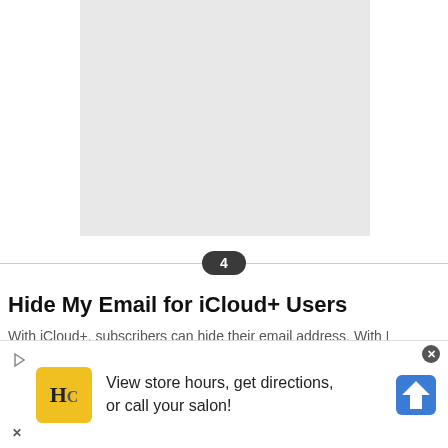[Figure (other): Light gray rectangular placeholder image]
4
Hide My Email for iCloud+ Users
With iCloud+, subscribers can hide their email address. With My E...
[Figure (infographic): Advertisement banner: HC salon logo, text 'View store hours, get directions, or call your salon!' with navigation arrow icon]